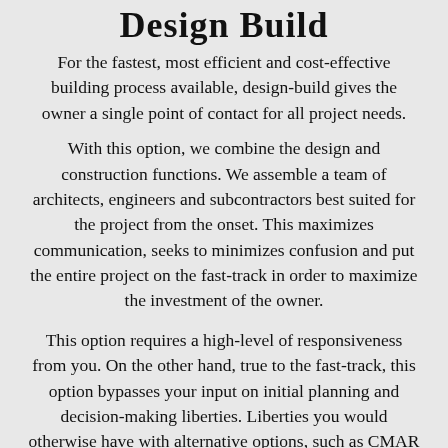Design Build
For the fastest, most efficient and cost-effective building process available, design-build gives the owner a single point of contact for all project needs. With this option, we combine the design and construction functions. We assemble a team of architects, engineers and subcontractors best suited for the project from the onset. This maximizes communication, seeks to minimizes confusion and put the entire project on the fast-track in order to maximize the investment of the owner.
This option requires a high-level of responsiveness from you. On the other hand, true to the fast-track, this option bypasses your input on initial planning and decision-making liberties. Liberties you would otherwise have with alternative options, such as CMAR or DBB. As a result, this option is not ideal for projects with highly specialized requirements, for example a custom-design hospital